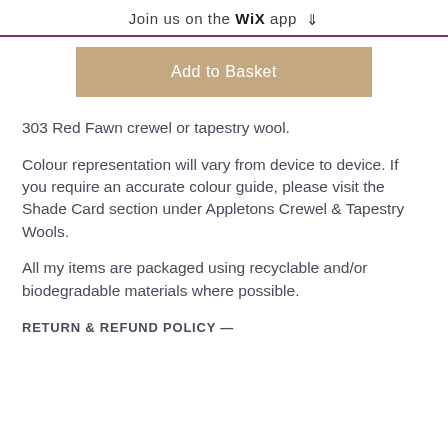Join us on the WiX app ⬇
Add to Basket
303 Red Fawn crewel or tapestry wool.
Colour representation will vary from device to device. If you require an accurate colour guide, please visit the Shade Card section under Appletons Crewel & Tapestry Wools.
All my items are packaged using recyclable and/or biodegradable materials where possible.
RETURN & REFUND POLICY —